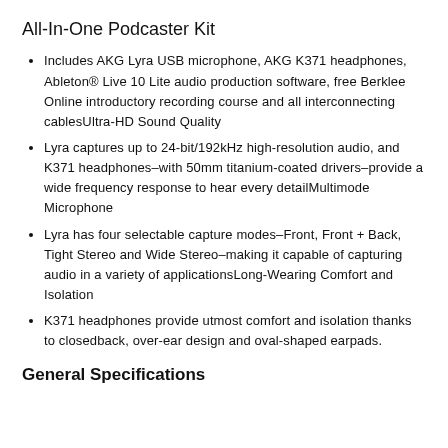All-In-One Podcaster Kit
Includes AKG Lyra USB microphone, AKG K371 headphones, Ableton® Live 10 Lite audio production software, free Berklee Online introductory recording course and all interconnecting cablesUltra-HD Sound Quality
Lyra captures up to 24-bit/192kHz high-resolution audio, and K371 headphones–with 50mm titanium-coated drivers–provide a wide frequency response to hear every detailMultimode Microphone
Lyra has four selectable capture modes–Front, Front + Back, Tight Stereo and Wide Stereo–making it capable of capturing audio in a variety of applicationsLong-Wearing Comfort and Isolation
K371 headphones provide utmost comfort and isolation thanks to closedback, over-ear design and oval-shaped earpads.
General Specifications